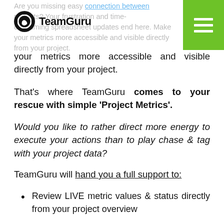TeamGuru
Are you missing easy connection between projects? Your frustration and time-consuming spreadsheet updates end here. Make your metrics more accessible and visible directly from your project.
That's where TeamGuru comes to your rescue with simple 'Project Metrics'.
Would you like to rather direct more energy to execute your actions than to play chase & tag with your project data?
TeamGuru will hand you a full support to:
Review LIVE metric values & status directly from your project overview
Manage your metrics...